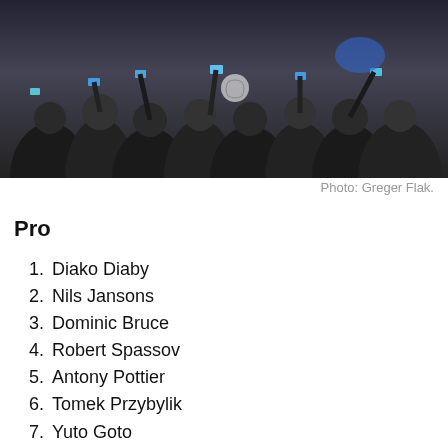[Figure (photo): Crowd of people taking photos with smartphones at an event, dark background with people holding up phones and cameras]
Photo: Greger Flak.
Pro
1. Diako Diaby
2. Nils Jansons
3. Dominic Bruce
4. Robert Spassov
5. Antony Pottier
6. Tomek Przybylik
7. Yuto Goto
8. Maxime Genoud
9. Diego Guilloud
10. Gabriel Hyden
11. Montre Livingston